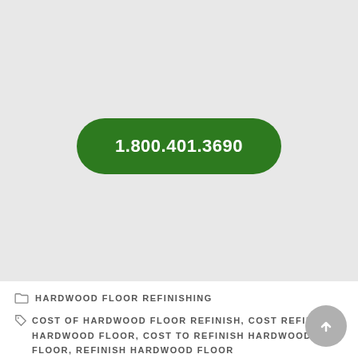[Figure (other): Green rounded rectangle button with phone number 1.800.401.3690 in white bold text, centered on a light gray background]
HARDWOOD FLOOR REFINISHING
COST OF HARDWOOD FLOOR REFINISH, COST REFINISH HARDWOOD FLOOR, COST TO REFINISH HARDWOOD FLOOR, REFINISH HARDWOOD FLOOR